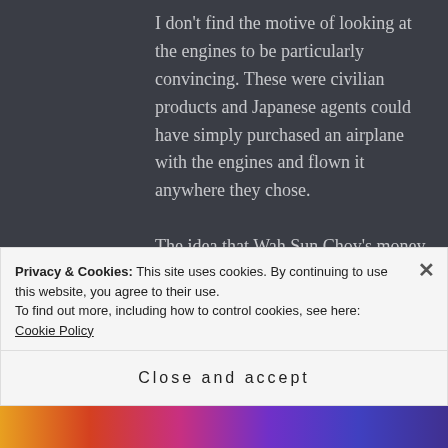I don't find the motive of looking at the engines to be particularly convincing. These were civilian products and Japanese agents could have simply purchased an airplane with the engines and flown it anywhere they chose.
The idea that Wah Sun Choy's money would be used to pay for Curtis airplanes is cinematic, but why would not the money have simply be paid to Curtis in the U.S. instead of being taken
Privacy & Cookies: This site uses cookies. By continuing to use this website, you agree to their use.
To find out more, including how to control cookies, see here: Cookie Policy
Close and accept